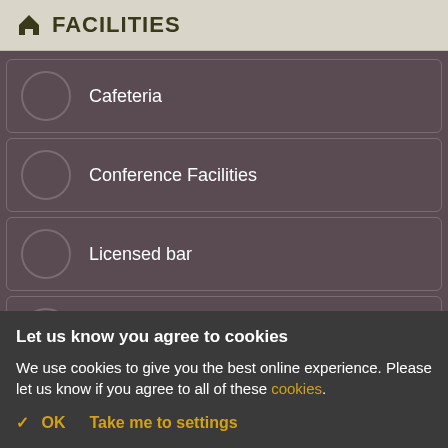FACILITIES
Cafeteria
Conference Facilities
Licensed bar
Parking
Refreshments Available
...
Let us know you agree to cookies
We use cookies to give you the best online experience. Please let us know if you agree to all of these cookies.
✓ OK   Take me to settings